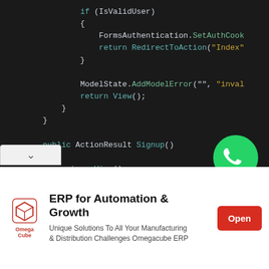[Figure (screenshot): Dark-themed code editor screenshot showing C# MVC controller code with syntax highlighting. Code shows if (IsValidUser) block with FormsAuthentication.SetAuthCookie and RedirectToAction("Index"), followed by ModelState.AddModelError and return View(), closing braces, and public ActionResult Signup() method with return View() body. A WhatsApp icon appears in the bottom right corner.]
[Figure (infographic): Advertisement banner for Omegacube ERP: 'ERP for Automation & Growth' with subtitle 'Unique Solutions To All Your Manufacturing & Distribution Challenges Omegacube ERP' with red Open button and Omegacube logo.]